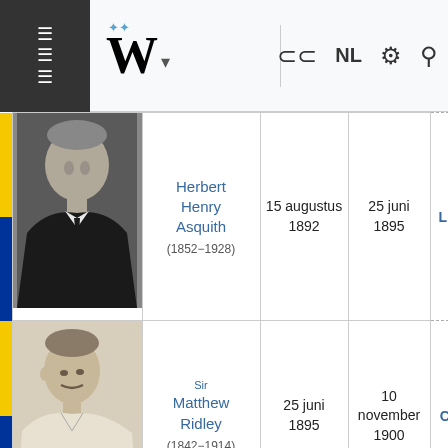Wikipedia NL navigation bar
|  | Portrait | Name | Start | End | Party |
| --- | --- | --- | --- | --- | --- |
|  | [photo] | Herbert Henry Asquith (1852–1928) | 15 augustus 1892 | 25 juni 1895 | Lib |
|  | [portrait] | Sir Matthew Ridley (1842–1914) | 25 juni 1895 | 10 november 1900 | Co |
|  | [photo] | Char... | 10... |  |  |